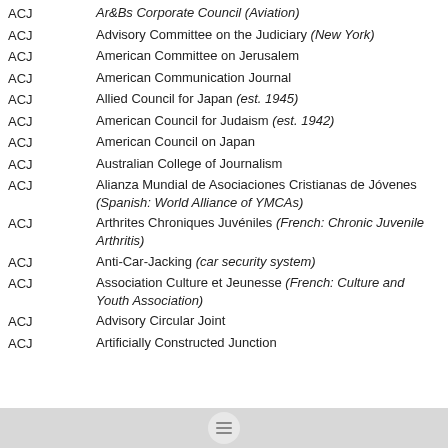ACJ — Advisory Committee on the Judiciary (New York)
ACJ — American Committee on Jerusalem
ACJ — American Communication Journal
ACJ — Allied Council for Japan (est. 1945)
ACJ — American Council for Judaism (est. 1942)
ACJ — American Council on Japan
ACJ — Australian College of Journalism
ACJ — Alianza Mundial de Asociaciones Cristianas de Jóvenes (Spanish: World Alliance of YMCAs)
ACJ — Arthrites Chroniques Juvéniles (French: Chronic Juvenile Arthritis)
ACJ — Anti-Car-Jacking (car security system)
ACJ — Association Culture et Jeunesse (French: Culture and Youth Association)
ACJ — Advisory Circular Joint
ACJ — Artificially Constructed Junction